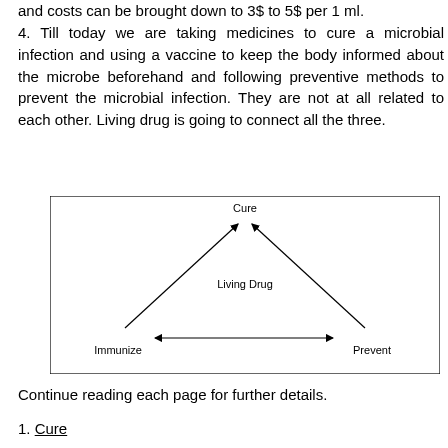and costs can be brought down to 3$ to 5$ per 1 ml.
4. Till today we are taking medicines to cure a microbial infection and using a vaccine to keep the body informed about the microbe beforehand and following preventive methods to prevent the microbial infection. They are not at all related to each other. Living drug is going to connect all the three.
[Figure (flowchart): Triangle diagram with three nodes: Cure (top center), Immunize (bottom left), Prevent (bottom right). Living Drug label in the center. Arrows: from Living Drug/center to Cure (two arrows pointing up to Cure from left and right sides), double-headed arrow between Immunize and Prevent, arrow from Living Drug area down-left to Immunize, arrow from Living Drug area down-right to Prevent.]
Continue reading each page for further details.
1. Cure